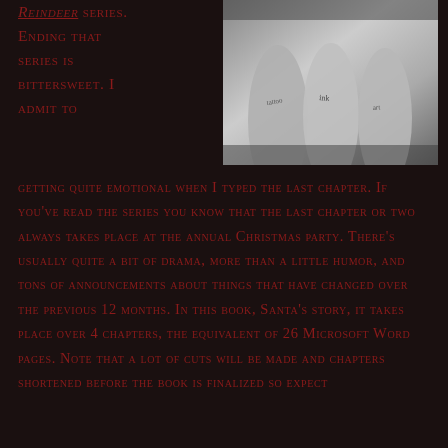Reindeer series. Ending that series is bittersweet. I admit to getting quite emotional when I typed the last chapter. If you've read the series you know that the last chapter or two always takes place at the annual Christmas party. There's usually quite a bit of drama, more than a little humor, and tons of announcements about things that have changed over the previous 12 months. In this book, Santa's story, it takes place over 4 chapters, the equivalent of 26 Microsoft Word pages. Note that a lot of cuts will be made and chapters shortened before the book is finalized so expect
[Figure (photo): Black and white photo showing tattooed arms/wrists with tattoos]